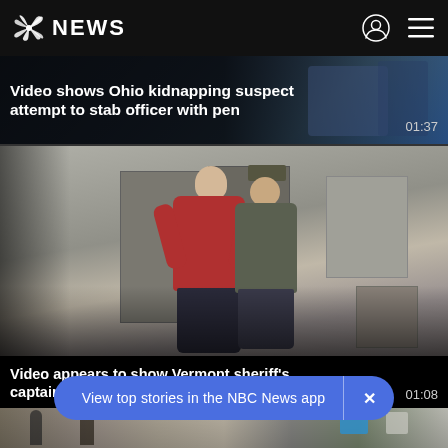NBC NEWS
Video shows Ohio kidnapping suspect attempt to stab officer with pen
[Figure (photo): Two people in a hallway, one in a red shirt and one in a green shirt, appearing to struggle near office cubicles]
Video appears to show Vermont sheriff's captain kicking handcuffed detainee
[Figure (photo): Partial view of people at what appears to be an airport or public building]
View top stories in the NBC News app